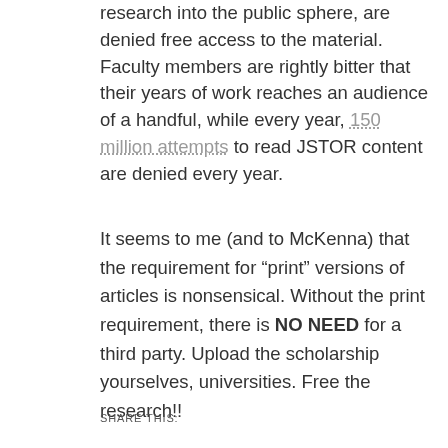research into the public sphere, are denied free access to the material. Faculty members are rightly bitter that their years of work reaches an audience of a handful, while every year, 150 million attempts to read JSTOR content are denied every year.
It seems to me (and to McKenna) that the requirement for “print” versions of articles is nonsensical. Without the print requirement, there is NO NEED for a third party. Upload the scholarship yourselves, universities. Free the research!!
SHARE THIS: